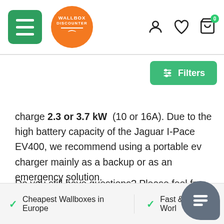Wallbox Discounter — navigation header with hamburger menu, logo, user/wishlist/cart icons
charge 2.3 or 3.7 kW (10 or 16A). Due to the high battery capacity of the Jaguar I-Pace EV400, we recommend using a portable ev charger mainly as a backup or as an emergency solution.
Do you still have questions? Please feel free to contact us.
✓ Cheapest Wallboxes in Europe   ✓ Fast & Free World...